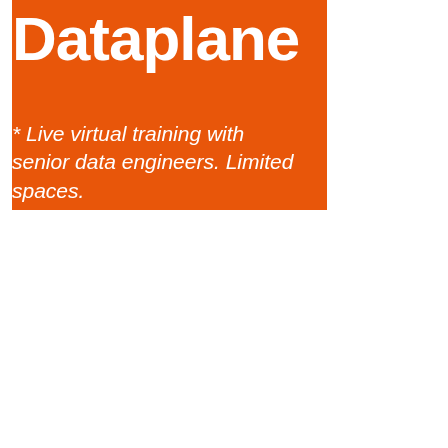Dataplane
* Live virtual training with senior data engineers. Limited spaces.